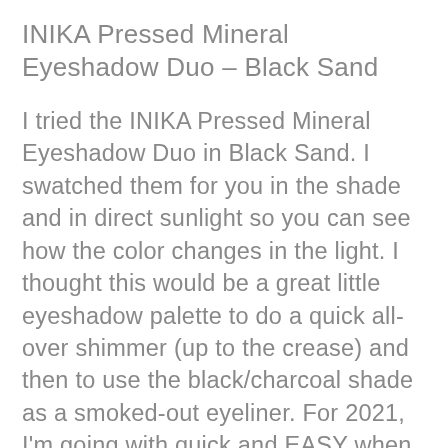INIKA Pressed Mineral Eyeshadow Duo – Black Sand
I tried the INIKA Pressed Mineral Eyeshadow Duo in Black Sand. I swatched them for you in the shade and in direct sunlight so you can see how the color changes in the light. I thought this would be a great little eyeshadow palette to do a quick all-over shimmer (up to the crease) and then to use the black/charcoal shade as a smoked-out eyeliner. For 2021, I'm going with quick and EASY when it comes to makeup! You could also use the black as a lid shade and put the shimmer in the middle or below the brow as a highlight. I love that this formula is mineral-